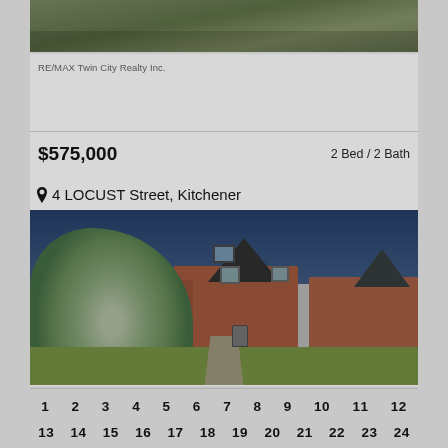[Figure (photo): Top portion of a property exterior photo, showing grass/lawn area — partial view cropped at top]
RE/MAX Twin City Realty Inc.
$575,000
2 Bed / 2 Bath
4 LOCUST Street, Kitchener
[Figure (photo): Exterior photo of a red brick house at 4 LOCUST Street, Kitchener. A large blue spruce tree dominates the left side. The house features a peaked roof, white trim windows, a front door with iron railing steps, and manicured lawn. Adjacent properties visible to the right. Blue sky in background.]
1  2  3  4  5  6  7  8  9  10  11  12
13  14  15  16  17  18  19  20  21  22  23  24